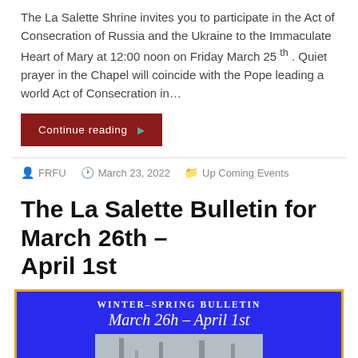The La Salette Shrine invites you to participate in the Act of Consecration of Russia and the Ukraine to the Immaculate Heart of Mary at 12:00 noon on Friday March 25 th . Quiet prayer in the Chapel will coincide with the Pope leading a world Act of Consecration in…
Continue reading ▶
FRFU   March 23, 2022   Up Coming Events
The La Salette Bulletin for March 26th – April 1st
[Figure (illustration): Blue background bulletin cover image showing 'Winter–Spring Bulletin' header text and script date 'March 26th – April 1st', with a photograph of misty winter trees below.]